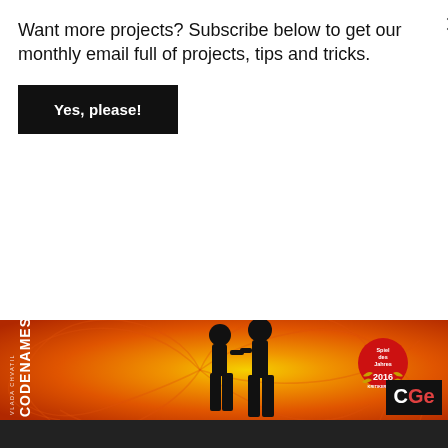Want more projects? Subscribe below to get our monthly email full of projects, tips and tricks.
Yes, please!
[Figure (photo): Codenames board game box cover showing two black silhouettes (a man and woman) against a swirling orange, red and yellow background. Text reads 'CODENAMES' vertically on left side, 'VLADA CHVATIL' in small text. Spiel des Jahres 2016 Kritikerpreis badge visible, CGE publisher logo in bottom right.]
[Figure (screenshot): Advertisement bar for Topgolf showing logo, checkmark Dine-in, X Delivery, and a blue navigation diamond arrow icon]